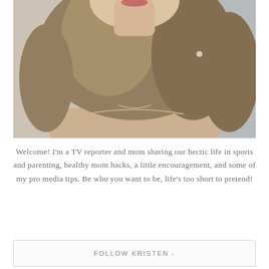[Figure (photo): Close-up portrait photo of a woman with wavy blonde-brown hair, partial face visible at top with red lips, wearing a light beige/nude top, photographed against a soft grey background.]
Welcome! I'm a TV reporter and mom sharing our hectic life in sports and parenting, healthy mom hacks, a little encouragement, and some of my pro media tips. Be who you want to be, life's too short to pretend!
FOLLOW KRISTEN -